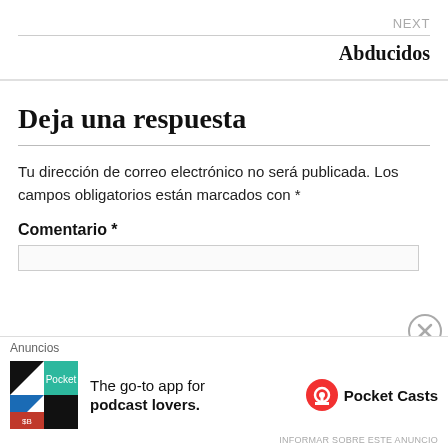NEXT
Abducidos
Deja una respuesta
Tu dirección de correo electrónico no será publicada. Los campos obligatorios están marcados con *
Comentario *
[Figure (infographic): Advertisement banner for Pocket Casts app: colorful app icon, text 'The go-to app for podcast lovers.' and Pocket Casts logo]
INFORMAR SOBRE ESTE ANUNCIO